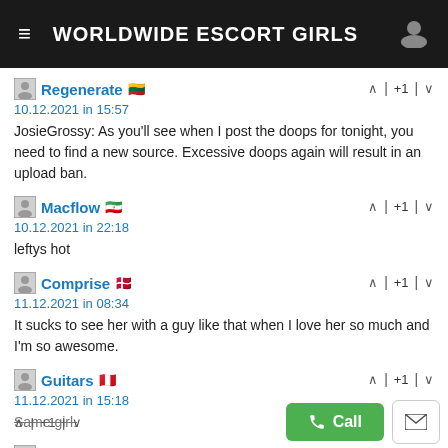WORLDWIDE ESCORT GIRLS
Regenerate 🇱🇹
10.12.2021 in 15:57
JosieGrossy: As you'll see when I post the doops for tonight, you need to find a new source. Excessive doops again will result in an upload ban.
Macflow 🇮🇷
10.12.2021 in 22:18
leftys hot
Comprise 🇩🇰
11.12.2021 in 08:34
It sucks to see her with a guy like that when I love her so much and I'm so awesome.
Guitars 🇵🇪
11.12.2021 in 15:18
Same girl.
Donship 🇮🇷
12.12.2021 in 06:02